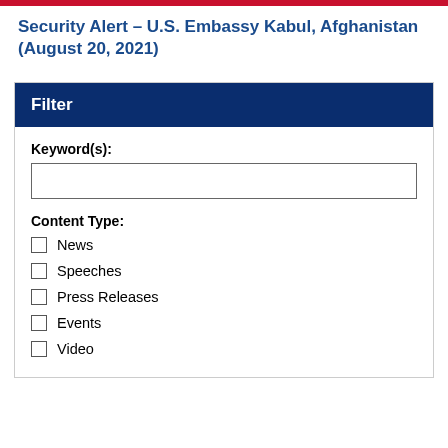Security Alert – U.S. Embassy Kabul, Afghanistan (August 20, 2021)
Filter
Keyword(s):
Content Type:
News
Speeches
Press Releases
Events
Video